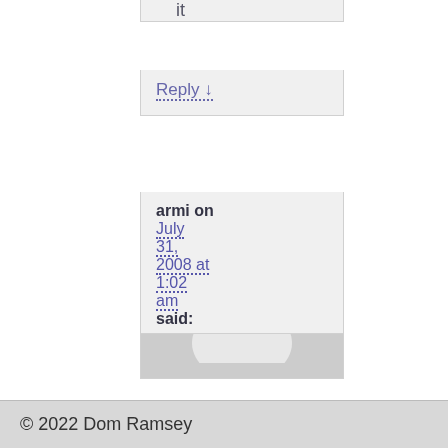it
Reply ↓
[Figure (illustration): Grey avatar placeholder image showing a generic person silhouette (head and shoulders) in white on a grey background]
armi on July 31, 2008 at 1:02 am said:
hello,pl regarding phone .
© 2022 Dom Ramsey